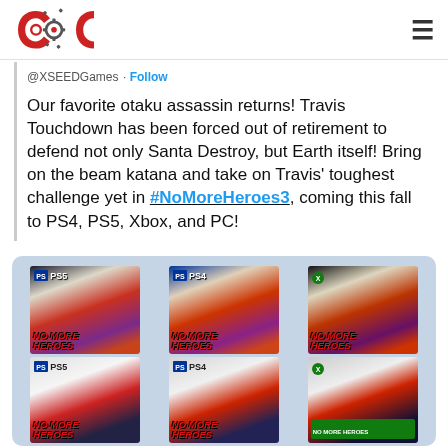COG logo and hamburger menu
@XSEEDGames · Follow
Our favorite otaku assassin returns! Travis Touchdown has been forced out of retirement to defend not only Santa Destroy, but Earth itself! Bring on the beam katana and take on Travis' toughest challenge yet in #NoMoreHeroes3, coming this fall to PS4, PS5, Xbox, and PC!
[Figure (photo): No More Heroes 3 physical game boxes for PS5, PS4, and Xbox Series X, showing both standard and collector's editions of the game.]